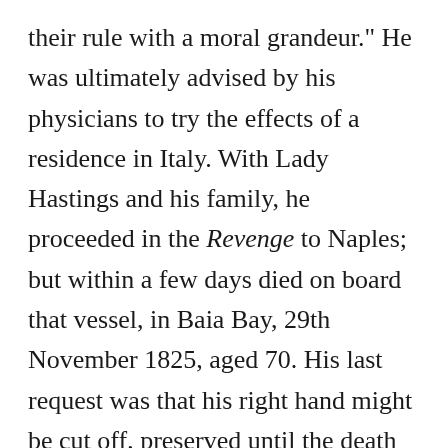their rule with a moral grandeur." He was ultimately advised by his physicians to try the effects of a residence in Italy. With Lady Hastings and his family, he proceeded in the Revenge to Naples; but within a few days died on board that vessel, in Baia Bay, 29th November 1825, aged 70. His last request was that his right hand might be cut off, preserved until the death of the Marchioness, and buried with her. He was greatly beloved by his own family and friends. He left two sons and four daughters. His widow survived until 1840. His Dublin residence was Moira House, now the Mendicity Institution. The title became extinct on the death of the 4th Marquis of Hastings in